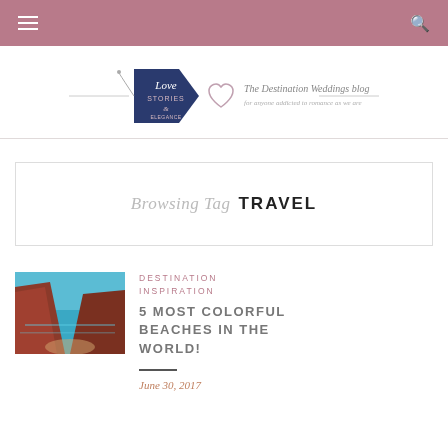Navigation bar with hamburger menu and search icon
[Figure (logo): Love Stories - The Destination Weddings blog logo with navy tag shape and cursive text]
Browsing Tag TRAVEL
[Figure (photo): Aerial or scenic view of a colorful beach with turquoise water and red/brown rocky cliffs]
DESTINATION INSPIRATION
5 MOST COLORFUL BEACHES IN THE WORLD!
June 30, 2017